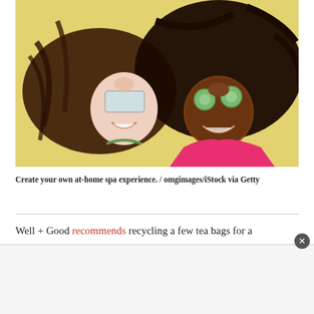[Figure (photo): Two young women lying on a yellow background, laughing. One has tea bags over her eyes and the other has cucumber slices over her eyes, both doing an at-home spa treatment.]
Create your own at-home spa experience. / omgimages/iStock via Getty
Well + Good recommends recycling a few tea bags for a